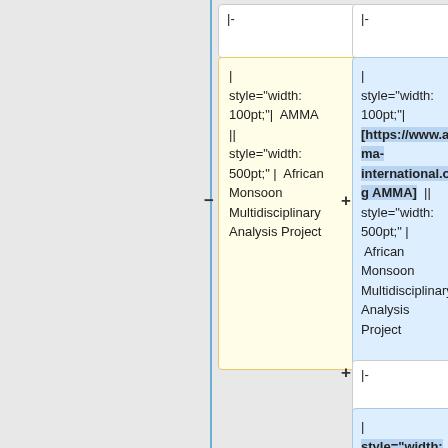|-
|-
| style="width: 100pt;"| AMMA || style="width: 500pt;" | African Monsoon Multidisciplinary Analysis Project
| style="width: 100pt;"| [https://www.amma-international.org AMMA] || style="width: 500pt;" | African Monsoon Multidisciplinary Analysis Project
|-
| style="width: 100pt;"| [https://www.clivar.org/clivar-amoc-task-team